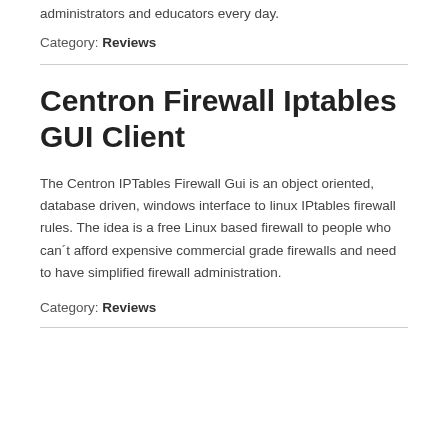administrators and educators every day.
Category: Reviews
Centron Firewall Iptables GUI Client
The Centron IPTables Firewall Gui is an object oriented, database driven, windows interface to linux IPtables firewall rules. The idea is a free Linux based firewall to people who can´t afford expensive commercial grade firewalls and need to have simplified firewall administration.
Category: Reviews